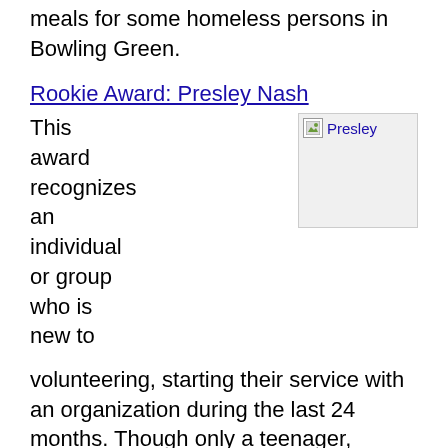meals for some homeless persons in Bowling Green.
Rookie Award: Presley Nash
[Figure (photo): Photo of Presley with broken image placeholder labeled 'Presley']
This award recognizes an individual or group who is new to
volunteering, starting their service with an organization during the last 24 months. Though only a teenager, Presley Nash has a list of volunteer achievements that few adults can match. She collects and donates items to children in foster care, bakes cookies for CASA bake sales, volunteers at the Kiwanis Club's ThunderFest, and makes and sells bracelets to benefit a children's hospital. Perhaps her most impressive volunteer activity is creating Presley's